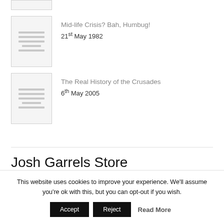[Figure (illustration): Partially visible thumbnail placeholder with document icon lines, cropped at top]
Mid-life Crisis? Bah, Humbug!
21st May 1982
The Real History of the Crusades
6th May 2005
Josh Garrels Store
This website uses cookies to improve your experience. We'll assume you're ok with this, but you can opt-out if you wish.
Accept  Reject  Read More